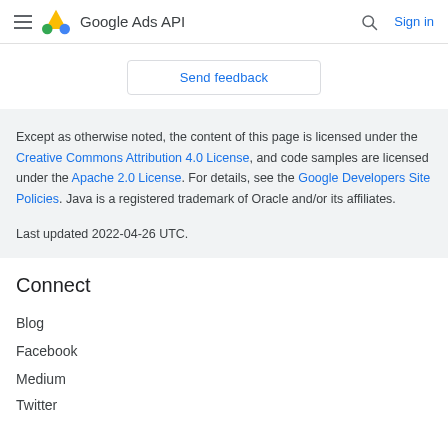Google Ads API
Send feedback
Except as otherwise noted, the content of this page is licensed under the Creative Commons Attribution 4.0 License, and code samples are licensed under the Apache 2.0 License. For details, see the Google Developers Site Policies. Java is a registered trademark of Oracle and/or its affiliates.

Last updated 2022-04-26 UTC.
Connect
Blog
Facebook
Medium
Twitter